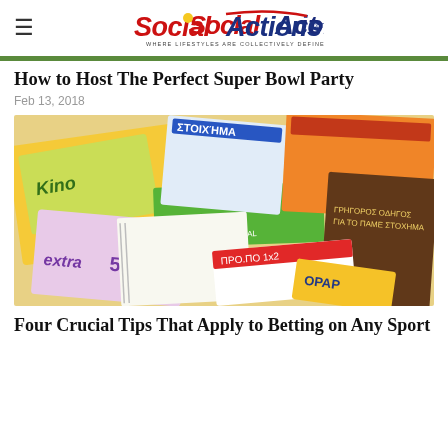SocialActions.com — WHERE LIFESTYLES ARE COLLECTIVELY DEFINED
How to Host The Perfect Super Bowl Party
Feb 13, 2018
[Figure (photo): A spread of colorful lottery and sports betting tickets/slips, including Kino, Extra 5, Pro.po Goal and other Greek lottery cards scattered on a surface]
Four Crucial Tips That Apply to Betting on Any Sport